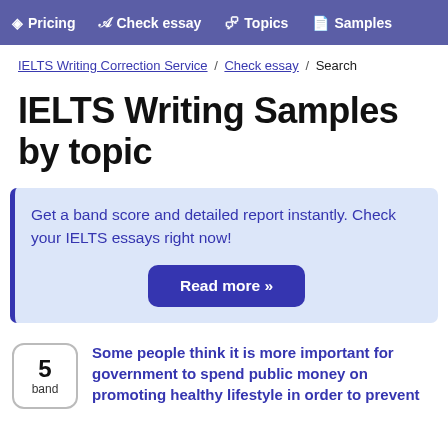Pricing  Check essay  Topics  Samples
IELTS Writing Correction Service / Check essay / Search
IELTS Writing Samples by topic
Get a band score and detailed report instantly. Check your IELTS essays right now!
Read more »
5 band  Some people think it is more important for government to spend public money on promoting healthy lifestyle in order to prevent